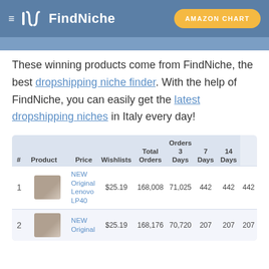≡ Fn FindNiche  AMAZON CHART
These winning products come from FindNiche, the best dropshipping niche finder. With the help of FindNiche, you can easily get the latest dropshipping niches in Italy every day!
| # | Product | Price | Wishlists | Total Orders | Orders 3 Days | Orders 7 Days | Orders 14 Days |
| --- | --- | --- | --- | --- | --- | --- | --- |
| 1 | NEW Original Lenovo LP40 | $25.19 | 168,008 | 71,025 | 442 | 442 | 442 |
| 2 | NEW Original | $25.19 | 168,176 | 70,720 | 207 | 207 | 207 |